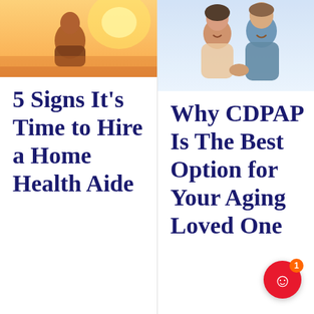[Figure (photo): Elderly person with warm sunset background, left column top photo]
5 Signs It's Time to Hire a Home Health Aide
[Figure (photo): Couple smiling and holding hands, right column top photo]
Why CDPAP Is The Best Option for Your Aging Loved One